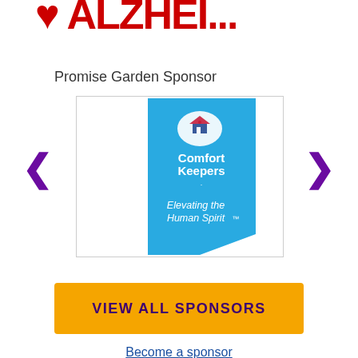[Figure (logo): Partial organization logo visible at the top of the page, red text cut off]
Promise Garden Sponsor
[Figure (logo): Comfort Keepers logo on blue ribbon/banner shape. Text reads: Comfort Keepers. Elevating the Human Spirit. with a house icon above.]
VIEW ALL SPONSORS
Become a sponsor